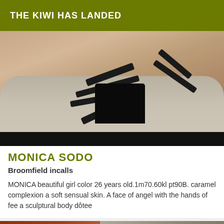THE KIWI HAS LANDED
[Figure (photo): Close-up photo of a person's legs wearing black strappy high heel shoes, resting on a light grey sofa cushion]
MONICA SODO
Broomfield incalls
MONICA beautiful girl color 26 years old.1m70.60kl pt90B. caramel complexion a soft sensual skin. A face of angel with the hands of fee a sculptural body dôtee
[Figure (photo): Partial view of another listing photo showing a person in a room]